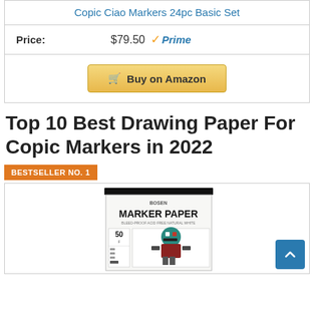Copic Ciao Markers 24pc Basic Set
Price: $79.50 Prime
Buy on Amazon
Top 10 Best Drawing Paper For Copic Markers in 2022
BESTSELLER NO. 1
[Figure (photo): Photo of Bosen Marker Paper pad product, showing cover with '50 sheets', 'Marker Paper', 'bleed-proof acid free natural white', and an image of a robot character]